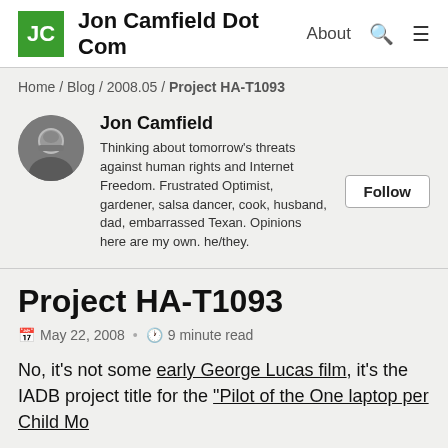Jon Camfield Dot Com   About   [search icon]   [menu icon]
Home / Blog / 2008.05 / Project HA-T1093
[Figure (photo): Circular avatar photo of Jon Camfield, a man with a beard]
Jon Camfield
Thinking about tomorrow's threats against human rights and Internet Freedom. Frustrated Optimist, gardener, salsa dancer, cook, husband, dad, embarrassed Texan. Opinions here are my own. he/they.
Follow
Project HA-T1093
May 22, 2008  •  9 minute read
No, it's not some early George Lucas film, it's the IADB project title for the "Pilot of the One laptop per Child Model" in Haiti, that I…